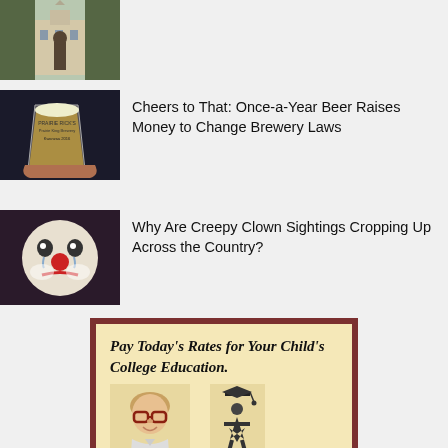[Figure (photo): Photo of a statue in front of a building with trees in background]
[Figure (photo): Photo of a hand holding a glass beer cup with text on it]
Cheers to That: Once-a-Year Beer Raises Money to Change Brewery Laws
[Figure (photo): Close-up photo of a creepy clown face with red nose and white makeup]
Why Are Creepy Clown Sightings Cropping Up Across the Country?
[Figure (illustration): Advertisement with text 'Pay Today's Rates for Your Child's College Education' with photo of a boy with glasses and a graduation cap figure logo]